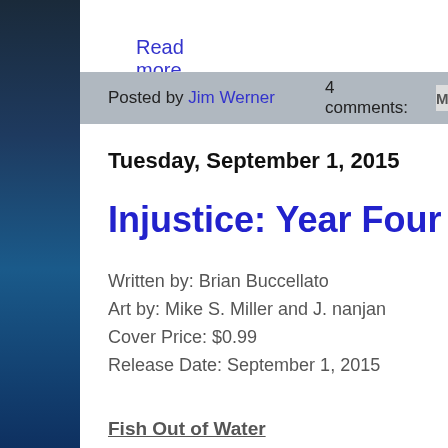Read more »
Posted by Jim Werner    4 comments:    M
Tuesday, September 1, 2015
Injustice: Year Four #
Written by: Brian Buccellato
Art by: Mike S. Miller and J. nanjan
Cover Price: $0.99
Release Date: September 1, 2015
Fish Out of Water